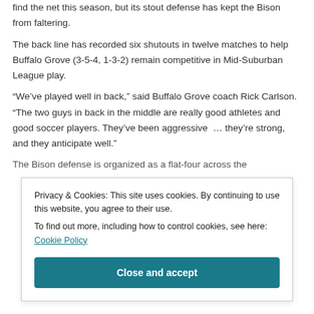find the net this season, but its stout defense has kept the Bison from faltering.
The back line has recorded six shutouts in twelve matches to help Buffalo Grove (3-5-4, 1-3-2) remain competitive in Mid-Suburban League play.
“We’ve played well in back,” said Buffalo Grove coach Rick Carlson. “The two guys in back in the middle are really good athletes and good soccer players. They’ve been aggressive … they’re strong, and they anticipate well.”
The Bison defense is organized as a flat-four across the
Privacy & Cookies: This site uses cookies. By continuing to use this website, you agree to their use.
To find out more, including how to control cookies, see here: Cookie Policy
Close and accept